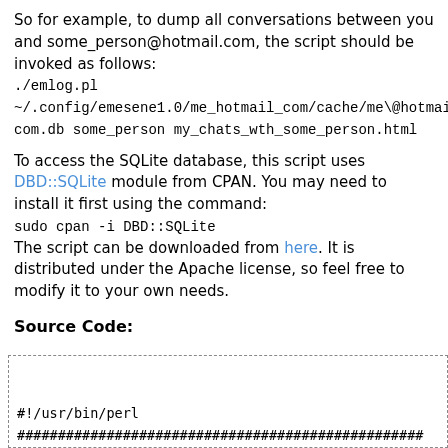So for example, to dump all conversations between you and some_person@hotmail.com, the script should be invoked as follows:
./emlog.pl
~/.config/emesene1.0/me_hotmail_com/cache/me\@hotmail.com.db some_person my_chats_wth_some_person.html
To access the SQLite database, this script uses DBD::SQLite module from CPAN. You may need to install it first using the command:
sudo cpan -i DBD::SQLite
The script can be downloaded from here. It is distributed under the Apache license, so feel free to modify it to your own needs.
Source Code:
#!/usr/bin/perl
##################################################
#    Copyright 2008 Charith K. Ellawala
#